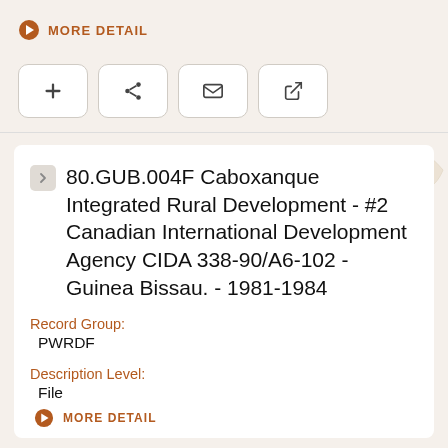MORE DETAIL
80.GUB.004F Caboxanque Integrated Rural Development - #2 Canadian International Development Agency CIDA 338-90/A6-102 - Guinea Bissau. - 1981-1984
Record Group:
PWRDF
Description Level:
File
MORE DETAIL